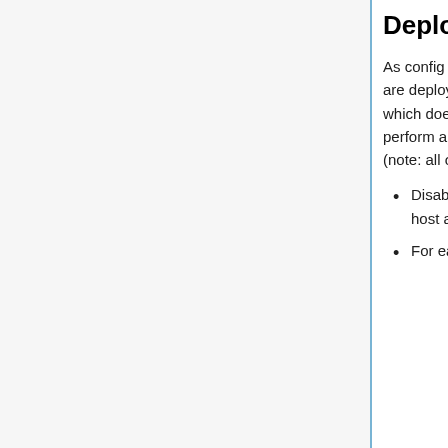Deploy config changes
As config changes can trigger database changes in RESTBase, it is very important that those are deployed in a rolling fashion as well. The configuration templating is handled by puppet, which doesn't directly support rolling deploys. To work around this, we need to manually perform a rolling deploy by disabling puppet & then re-enabling it one by one. Procedure (note: all of the following commands need to be run as root):
Disable puppet on all restbase* hosts, to make sure that config changes are applied one host at a time: puppet agent --disable
For each node: